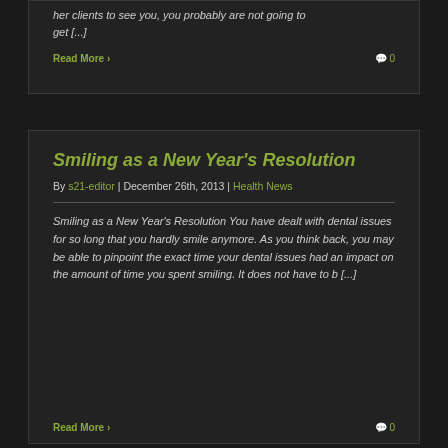her clients to see you, you probably are not going to get [...]
Read More
0
Smiling as a New Year's Resolution
By s21-editor | December 26th, 2013 | Health News
Smiling as a New Year's Resolution You have dealt with dental issues for so long that you hardly smile anymore. As you think back, you may be able to pinpoint the exact time your dental issues had an impact on the amount of time you spent smiling. It does not have to b [...]
Read More
0